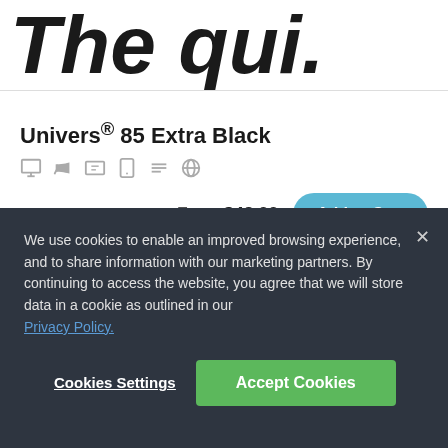[Figure (screenshot): Partial italic bold font preview text 'The qui.' shown at top of page, cropped]
Univers® 85 Extra Black
[Figure (infographic): Row of feature icons: desktop monitor, megaphone/support, card/ID, tablet, lines/document, globe]
From $42.99
Add to Cart
[Figure (screenshot): Partial large bold black font preview letters visible at bottom, cropped]
We use cookies to enable an improved browsing experience, and to share information with our marketing partners. By continuing to access the website, you agree that we will store data in a cookie as outlined in our Privacy Policy.
Cookies Settings
Accept Cookies